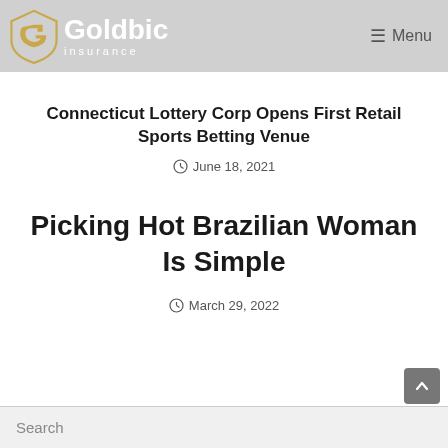Goldbic Insurance — Menu
Connecticut Lottery Corp Opens First Retail Sports Betting Venue
June 18, 2021
Picking Hot Brazilian Woman Is Simple
March 29, 2022
Search